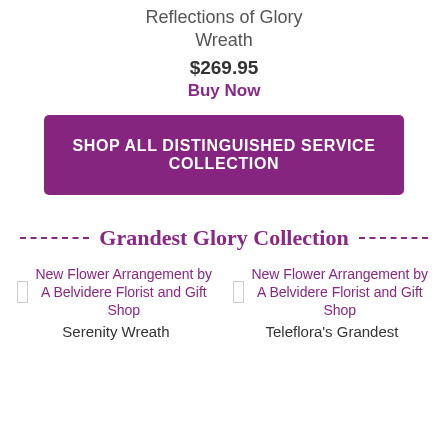Reflections of Glory Wreath
$269.95
Buy Now
SHOP ALL DISTINGUISHED SERVICE COLLECTION
Grandest Glory Collection
[Figure (illustration): Placeholder image for New Flower Arrangement by A Belvidere Florist and Gift Shop (left)]
New Flower Arrangement by A Belvidere Florist and Gift Shop
Serenity Wreath
[Figure (illustration): Placeholder image for New Flower Arrangement by A Belvidere Florist and Gift Shop (right)]
New Flower Arrangement by A Belvidere Florist and Gift Shop
Teleflora's Grandest